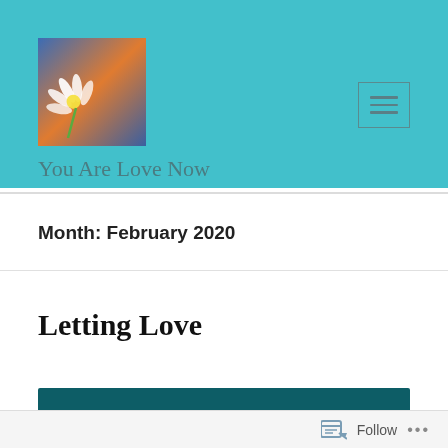[Figure (screenshot): Blog header banner with teal/turquoise background. Contains a square logo image showing a daisy flower with blue and orange gradient background, a hamburger menu icon button in the top right, and the site title 'You Are Love Now' below the logo.]
You Are Love Now
Month: February 2020
Letting Love
[Figure (photo): Dark teal/dark cyan colored rectangular image bar, partially visible at the bottom of the page.]
Follow ...